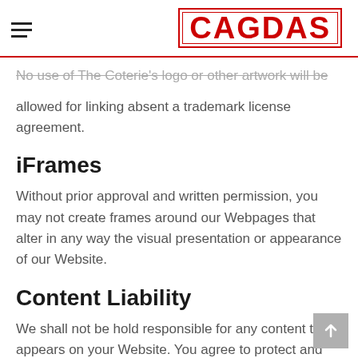CAGDAS
No use of The Coterie's logo or other artwork will be allowed for linking absent a trademark license agreement.
iFrames
Without prior approval and written permission, you may not create frames around our Webpages that alter in any way the visual presentation or appearance of our Website.
Content Liability
We shall not be hold responsible for any content that appears on your Website. You agree to protect and defend us against all claims that is rising on your Website. No link(s) should appear on any Website that